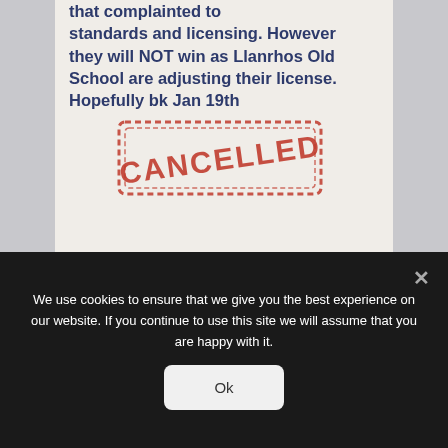[Figure (screenshot): Screenshot of a social media post with bold dark-blue text reading: 'that complainted to [cut off] standards and licensing. However they will NOT win as Llanrhos Old School are adjusting their license. Hopefully bk Jan 19th', with a large red CANCELLED stamp overlaid on the lower portion of the image.]
Julie, do you remember yourself and Mike took your 8 year old son for after-school football coaching, sessions attended 12 weeks, total 2 terms your son
We use cookies to ensure that we give you the best experience on our website. If you continue to use this site we will assume that you are happy with it.
Ok